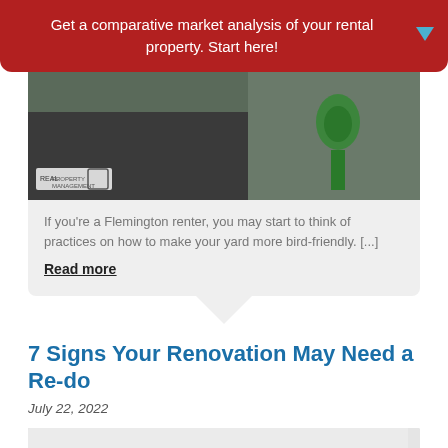Get a comparative market analysis of your rental property. Start here!
[Figure (photo): Photo of a bird feeder outside a dark door with Real Property Management and Equal Housing logos]
If you're a Flemington renter, you may start to think of practices on how to make your yard more bird-friendly. [...]
Read more
7 Signs Your Renovation May Need a Re-do
July 22, 2022
[Figure (photo): Photo of a person in a room with shelves in the background]